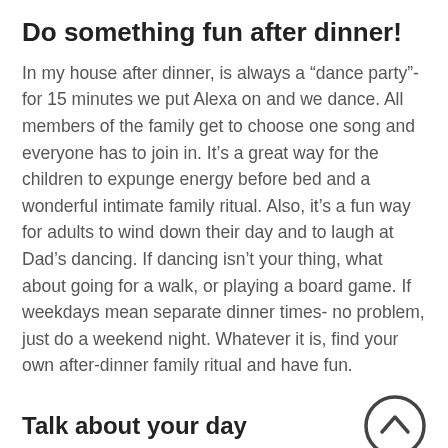Do something fun after dinner!
In my house after dinner, is always a “dance party”- for 15 minutes we put Alexa on and we dance. All members of the family get to choose one song and everyone has to join in. It’s a great way for the children to expunge energy before bed and a wonderful intimate family ritual. Also, it’s a fun way for adults to wind down their day and to laugh at Dad’s dancing. If dancing isn’t your thing, what about going for a walk, or playing a board game. If weekdays mean separate dinner times- no problem, just do a weekend night. Whatever it is, find your own after-dinner family ritual and have fun.
Talk about your day
Of course, all the data tells us that family mealtimes are important, but this just isn’t practical for every